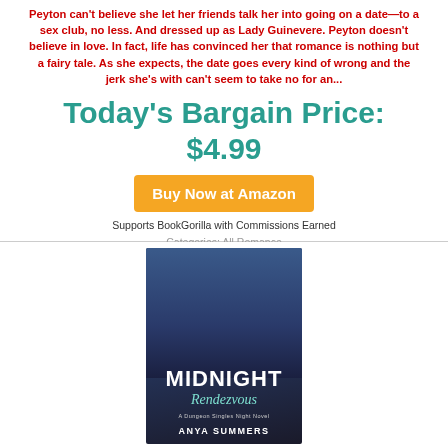Peyton can't believe she let her friends talk her into going on a date—to a sex club, no less. And dressed up as Lady Guinevere. Peyton doesn't believe in love. In fact, life has convinced her that romance is nothing but a fairy tale. As she expects, the date goes every kind of wrong and the jerk she's with can't seem to take no for an...
Today's Bargain Price: $4.99
Buy Now at Amazon
Supports BookGorilla with Commissions Earned
Categories: All Romance
[Figure (illustration): Book cover for 'Midnight Rendezvous: A Dungeon Singles Night Novel' by Anya Summers, featuring a tattooed man with a beard against a dark background]